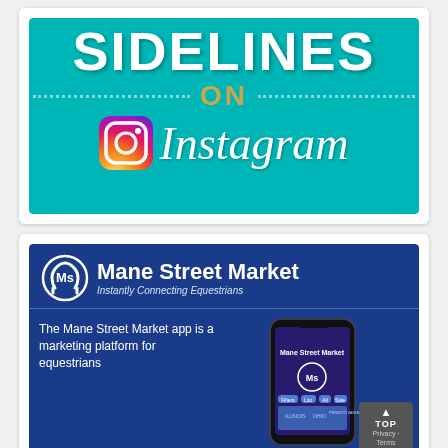[Figure (illustration): Sidelines on Instagram promotional banner: teal background with 'SIDELINES' text in large white bold letters, 'ON' in gold between dotted lines, and Instagram logo with 'Instagram' script text below.]
[Figure (illustration): Mane Street Market advertisement on dark blue background. Horseshoe logo with 'MS' initials, title 'Mane Street Market', subtitle 'Instantly Connecting Equestrians', body text 'The Mane Street Market app is a marketing platform for equestrians', smartphone mockup showing the app, and a 'TOP' button overlay in bottom-right corner.]